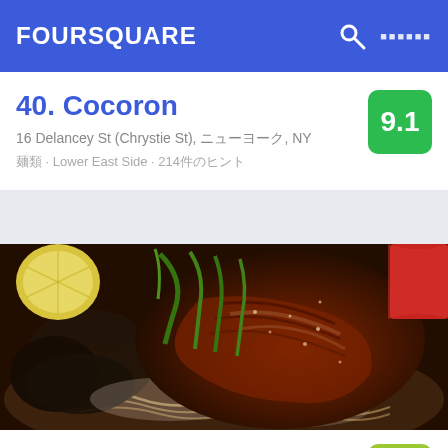FOURSQUARE
40. Cocoron
16 Delancey St (Chrystie St), ニューヨーク, NY
麺類 · Lower East Side · 214件のヒント
[Figure (photo): Close-up photo of ramen dish with grilled pork/chashu, black mushrooms, noodles in broth, garnished with green onions and a lemon slice]
41. Ramen-Ya
181 W 4th St (at Jones St), ニューヨーク, NY
ラーメン · West Village · 145件のヒント